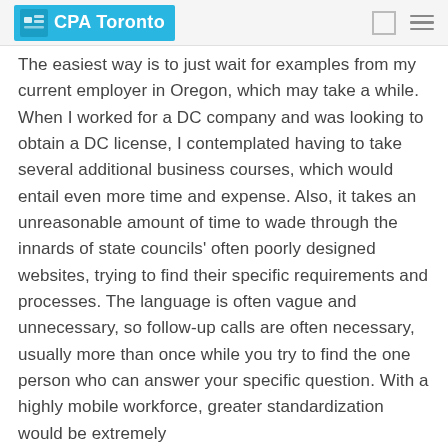CPA Toronto
The easiest way is to just wait for examples from my current employer in Oregon, which may take a while. When I worked for a DC company and was looking to obtain a DC license, I contemplated having to take several additional business courses, which would entail even more time and expense. Also, it takes an unreasonable amount of time to wade through the innards of state councils' often poorly designed websites, trying to find their specific requirements and processes. The language is often vague and unnecessary, so follow-up calls are often necessary, usually more than once while you try to find the one person who can answer your specific question. With a highly mobile workforce, greater standardization would be extremely